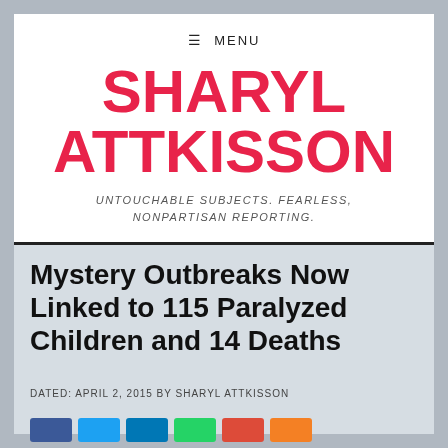≡ MENU
SHARYL ATTKISSON
UNTOUCHABLE SUBJECTS. FEARLESS, NONPARTISAN REPORTING.
Mystery Outbreaks Now Linked to 115 Paralyzed Children and 14 Deaths
DATED: APRIL 2, 2015 BY SHARYL ATTKISSON